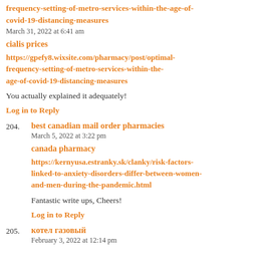frequency-setting-of-metro-services-within-the-age-of-covid-19-distancing-measures
March 31, 2022 at 6:41 am
cialis prices
https://gpefy8.wixsite.com/pharmacy/post/optimal-frequency-setting-of-metro-services-within-the-age-of-covid-19-distancing-measures
You actually explained it adequately!
Log in to Reply
204. best canadian mail order pharmacies
March 5, 2022 at 3:22 pm
canada pharmacy
https://kernyusa.estranky.sk/clanky/risk-factors-linked-to-anxiety-disorders-differ-between-women-and-men-during-the-pandemic.html
Fantastic write ups, Cheers!
Log in to Reply
205. котел газовый
February 3, 2022 at 12:14 pm